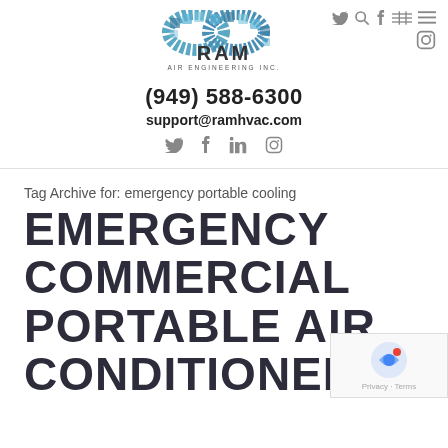[Figure (logo): RAM Air Engineering Inc. logo with stylized ram horns in blue mosaic and social media icons (Twitter, search, Facebook, LinkedIn, menu, Instagram) in the top right]
(949) 588-6300
support@ramhvac.com
Social media icons: Twitter, Facebook, LinkedIn, Instagram
Tag Archive for: emergency portable cooling
EMERGENCY COMMERCIAL PORTABLE AIR CONDITIONERS